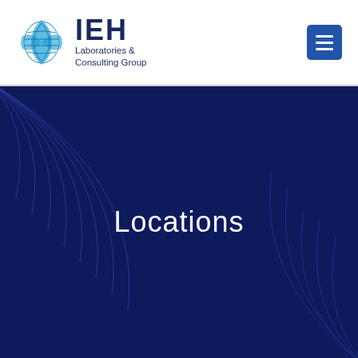[Figure (logo): IEH Laboratories & Consulting Group logo with globe/leaf icon]
[Figure (other): Navigation menu hamburger button (three horizontal lines on blue square)]
[Figure (illustration): Dark navy blue hero banner with decorative light blue curved lines radiating from upper-left and lower-right corners]
Locations